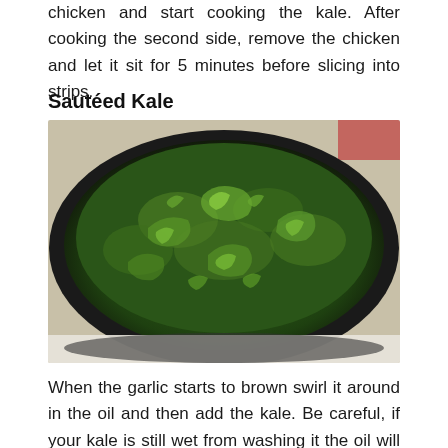chicken and start cooking the kale. After cooking the second side, remove the chicken and let it sit for 5 minutes before slicing into strips.
Sautéed Kale
[Figure (photo): A large dark skillet filled with freshly sautéed curly kale, showing bright green and dark green leaves in a cast iron or dark non-stick pan, photographed from above at a slight angle.]
When the garlic starts to brown swirl it around in the oil and then add the kale. Be careful, if your kale is still wet from washing it the oil will spit at you. I try to add the kale in...